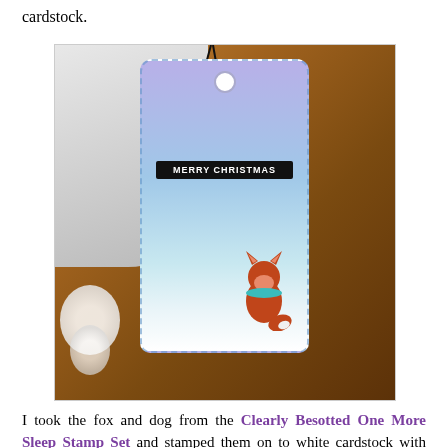cardstock.
[Figure (photo): A handmade Christmas gift tag with a blue-purple gradient background featuring embossed dot texture, a black string tie at the top, a white circular hole, a black banner reading MERRY CHRISTMAS in white text, and a small stamped/colored fox sitting at the bottom. The tag is placed on a wooden surface with white flowers in the background.]
I took the fox and dog from the Clearly Besotted One More Sleep Stamp Set and stamped them on to white cardstock with Memento Tuxedo Black Ink. I coloured them using